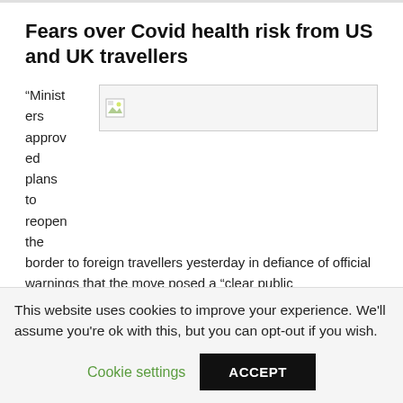Fears over Covid health risk from US and UK travellers
[Figure (photo): Broken/missing image placeholder next to article text]
“Ministers approved plans to reopen the border to foreign travellers yesterday in defiance of official warnings that the move posed a “clear public
This website uses cookies to improve your experience. We’ll assume you’re ok with this, but you can opt-out if you wish.
Cookie settings   ACCEPT